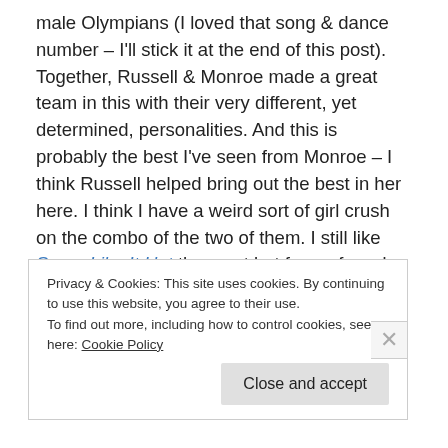male Olympians (I loved that song & dance number – I'll stick it at the end of this post). Together, Russell & Monroe made a great team in this with their very different, yet determined, personalities. And this is probably the best I've seen from Monroe – I think Russell helped bring out the best in her here. I think I have a weird sort of girl crush on the combo of the two of them. I still like Some Like It Hot the most but far preferred Gentleman Prefer Blondes to The Seven Year Itch, which is dated in a somewhat uncomfortable way that doesn't really work now. All three have outdated values but, screw it, who cares? These
Privacy & Cookies: This site uses cookies. By continuing to use this website, you agree to their use.
To find out more, including how to control cookies, see here: Cookie Policy